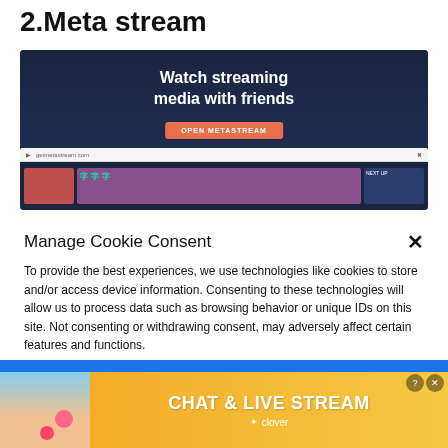2.Meta stream
[Figure (screenshot): Screenshot of Metastream website showing 'Watch streaming media with friends' with an orange 'OPEN METASTREAM' button and a browser interface preview below, on a dark navy background.]
Manage Cookie Consent
To provide the best experiences, we use technologies like cookies to store and/or access device information. Consenting to these technologies will allow us to process data such as browsing behavior or unique IDs on this site. Not consenting or withdrawing consent, may adversely affect certain features and functions.
[Figure (screenshot): Partial screenshot showing a blue interface at bottom, overlaid by an advertisement banner featuring a woman on a beach with 'CHAT & LIVE STREAM' text and Clover logo on an orange/yellow background.]